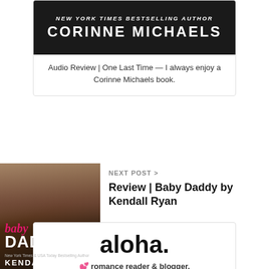[Figure (illustration): Book cover style banner with dark background showing 'NEW YORK TIMES BESTSELLING AUTHOR' in italic and 'CORINNE MICHAELS' in large bold letters]
Audio Review | One Last Time — I always enjoy a Corinne Michaels book.
NEXT POST >
[Figure (photo): Book cover for 'Baby Daddy' by Kendall Ryan showing a shirtless man with 'baby' in pink script and 'DADDY' in large white text]
Review | Baby Daddy by Kendall Ryan
aloha.
💕 romance reader & blogger.
mother of 3 and trying to figure things out